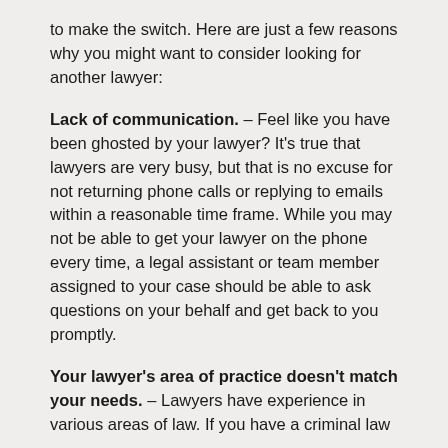to make the switch. Here are just a few reasons why you might want to consider looking for another lawyer:
Lack of communication. – Feel like you have been ghosted by your lawyer? It's true that lawyers are very busy, but that is no excuse for not returning phone calls or replying to emails within a reasonable time frame. While you may not be able to get your lawyer on the phone every time, a legal assistant or team member assigned to your case should be able to ask questions on your behalf and get back to you promptly.
Your lawyer's area of practice doesn't match your needs. – Lawyers have experience in various areas of law. If you have a criminal law...